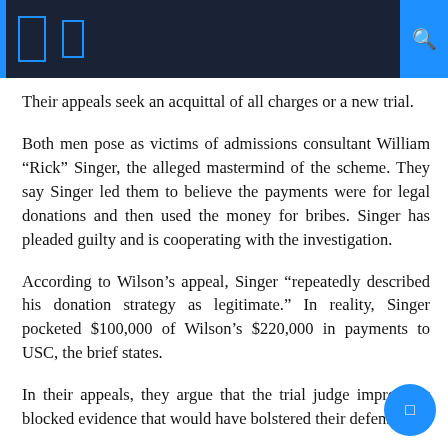Their appeals seek an acquittal of all charges or a new trial.
Both men pose as victims of admissions consultant William “Rick” Singer, the alleged mastermind of the scheme. They say Singer led them to believe the payments were for legal donations and then used the money for bribes. Singer has pleaded guilty and is cooperating with the investigation.
According to Wilson’s appeal, Singer “repeatedly described his donation strategy as legitimate.” In reality, Singer pocketed $100,000 of Wilson’s $220,000 in payments to USC, the brief states.
In their appeals, they argue that the trial judge improperly blocked evidence that would have bolstered their defenses.